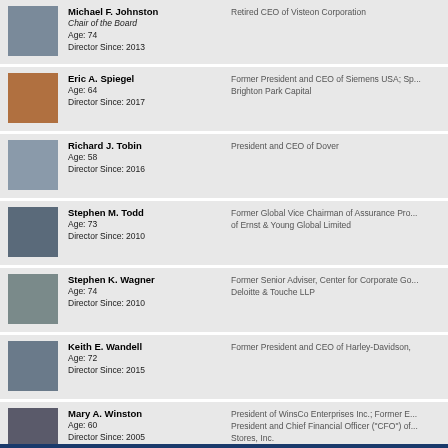Michael F. Johnston | Chair of the Board | Age: 74 | Director Since: 2013 | Retired CEO of Visteon Corporation
Eric A. Spiegel | Age: 64 | Director Since: 2017 | Former President and CEO of Siemens USA; Sp... Brighton Park Capital
Richard J. Tobin | Age: 58 | Director Since: 2016 | President and CEO of Dover
Stephen M. Todd | Age: 73 | Director Since: 2010 | Former Global Vice Chairman of Assurance Pro... of Ernst & Young Global Limited
Stephen K. Wagner | Age: 74 | Director Since: 2010 | Former Senior Adviser, Center for Corporate Go... Deloitte & Touche LLP
Keith E. Wandell | Age: 72 | Director Since: 2015 | Former President and CEO of Harley-Davidson,
Mary A. Winston | Age: 60 | Director Since: 2005 | President of WinsCo Enterprises Inc.; Former E... President and Chief Financial Officer ("CFO") of ... Stores, Inc.